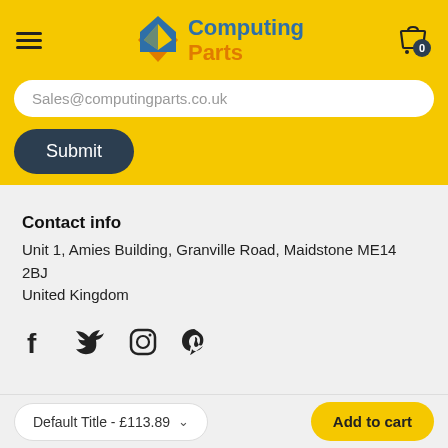Computing Parts - navigation header with logo and cart
Sales@computingparts.co.uk
Submit
Contact info
Unit 1, Amies Building, Granville Road, Maidstone ME14 2BJ
United Kingdom
[Figure (illustration): Social media icons: Facebook, Twitter, Instagram, Pinterest]
Default Title - £113.89  Add to cart